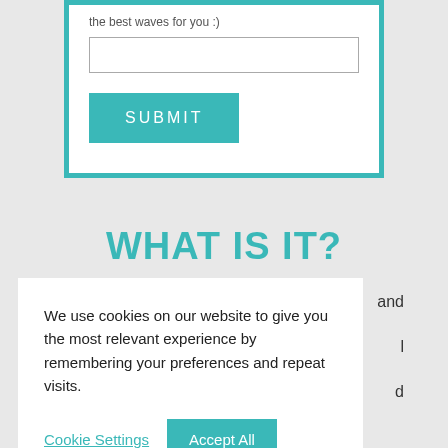the best waves for you :)
[Figure (screenshot): A web form input field (text box) followed by a teal SUBMIT button]
WHAT IS IT?
and l d plunge pool.
[Figure (screenshot): Cookie consent banner with text: We use cookies on our website to give you the most relevant experience by remembering your preferences and repeat visits. Buttons: Cookie Settings, Accept All]